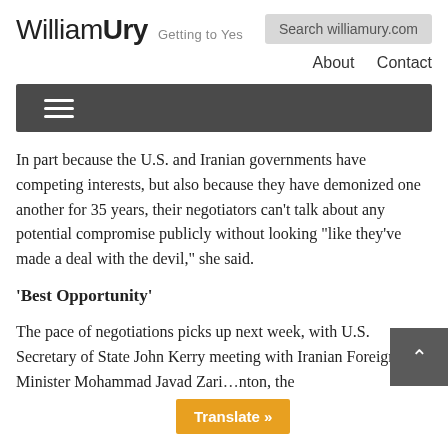WilliamUry Getting to Yes  Search williamury.com
About  Contact
[Figure (other): Dark gray navigation hamburger menu bar with three horizontal white lines icon]
In part because the U.S. and Iranian governments have competing interests, but also because they have demonized one another for 35 years, their negotiators can't talk about any potential compromise publicly without looking “like they’ve made a deal with the devil,” she said.
‘Best Opportunity’
The pace of negotiations picks up next week, with U.S. Secretary of State John Kerry meeting with Iranian Foreign Minister Mohammad Javad Zari… nton, the